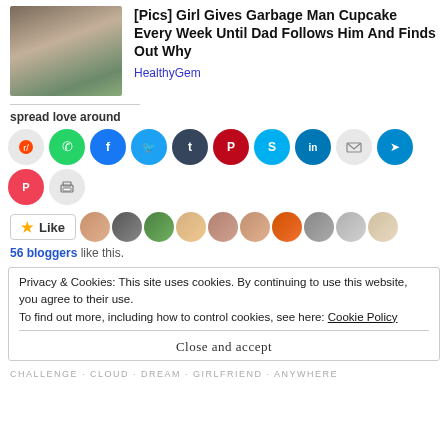[Figure (photo): Thumbnail photo of a man and a child smiling together outdoors]
[Pics] Girl Gives Garbage Man Cupcake Every Week Until Dad Follows Him And Finds Out Why
HealthyGem
spread love around
[Figure (infographic): Row of social media sharing icon buttons: Reddit, WhatsApp, Facebook, Twitter, Tumblr, Pinterest, Skype, LinkedIn, Email, Telegram, Pocket, Print]
[Figure (infographic): Like button with star icon and a strip of 10 blogger avatar photos]
56 bloggers like this.
Privacy & Cookies: This site uses cookies. By continuing to use this website, you agree to their use.
To find out more, including how to control cookies, see here: Cookie Policy
Close and accept
CHALLENGE · CLOUD · DREAM · GIRLFRIEND · ANYWHERE